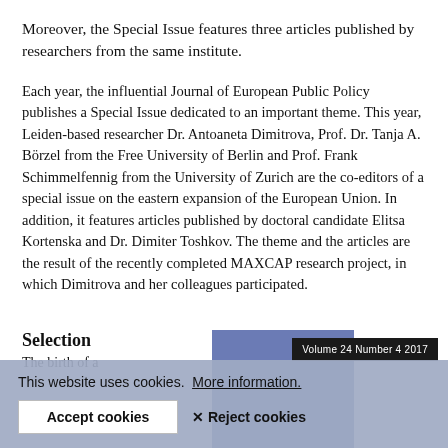Moreover, the Special Issue features three articles published by researchers from the same institute.
Each year, the influential Journal of European Public Policy publishes a Special Issue dedicated to an important theme. This year, Leiden-based researcher Dr. Antoaneta Dimitrova, Prof. Dr. Tanja A. Börzel from the Free University of Berlin and Prof. Frank Schimmelfennig from the University of Zurich are the co-editors of a special issue on the eastern expansion of the European Union. In addition, it features articles published by doctoral candidate Elitsa Kortenska and Dr. Dimiter Toshkov. The theme and the articles are the result of the recently completed MAXCAP research project, in which Dimitrova and her colleagues participated.
Selection
The birth of a
[Figure (other): Blue/slate colored rectangular image block]
Volume 24 Number 4 2017
This website uses cookies. More information.
Accept cookies
✕ Reject cookies